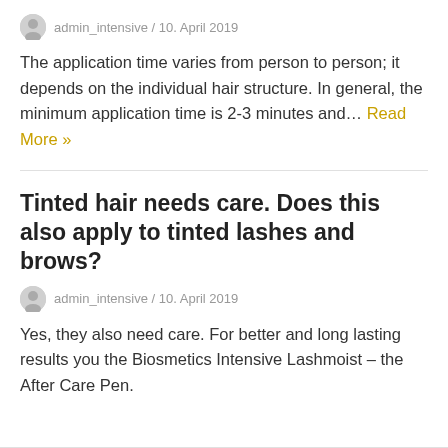admin_intensive / 10. April 2019
The application time varies from person to person; it depends on the individual hair structure. In general, the minimum application time is 2-3 minutes and… Read More »
Tinted hair needs care. Does this also apply to tinted lashes and brows?
admin_intensive / 10. April 2019
Yes, they also need care. For better and long lasting results you the Biosmetics Intensive Lashmoist – the After Care Pen.